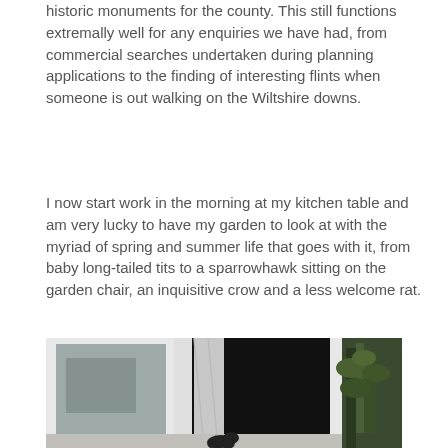historic monuments for the county. This still functions extremally well for any enquiries we have had, from commercial searches undertaken during planning applications to the finding of interesting flints when someone is out walking on the Wiltshire downs.
I now start work in the morning at my kitchen table and am very lucky to have my garden to look at with the myriad of spring and summer life that goes with it, from baby long-tailed tits to a sparrowhawk sitting on the garden chair, an inquisitive crow and a less welcome rat.
[Figure (photo): Photograph of a garden scene viewed through an open white-framed window. The left pane reflects interior items; the right pane is open showing a dark interior with a white curtain. Green plants are visible to the right outside. A bird (crow) is partially visible at the bottom centre.]